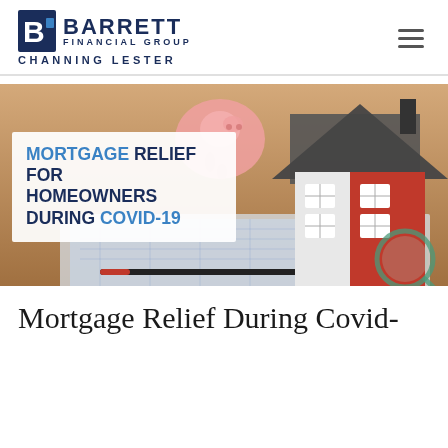BARRETT FINANCIAL GROUP CHANNING LESTER
[Figure (photo): Hero image showing a miniature red and white house model, a pink piggy bank, blueprints/floor plans, a pen, and a magnifying glass on a wooden surface. Overlaid white box with text: MORTGAGE RELIEF FOR HOMEOWNERS DURING COVID-19]
Mortgage Relief During Covid-